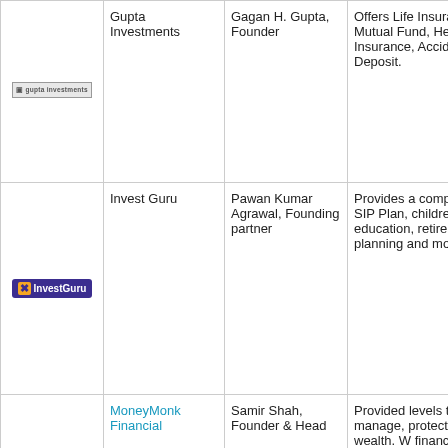| Logo | Company | Person | Description |
| --- | --- | --- | --- |
| [Gupta Investments logo] | Gupta Investments | Gagan H. Gupta, Founder | Offers Life Insurance, Mutual Fund, Health Insurance, Accident, Deposit. |
| [InvestGuru logo] | Invest Guru | Pawan Kumar Agrawal, Founding partner | Provides a complete of SIP Plan, childrens education, retirement planning and more. |
| [MoneyMonk Financial logo] | MoneyMonk Financial | Samir Shah, Founder & Head | Provided levels to build, manage, protect your wealth. financial and more. |